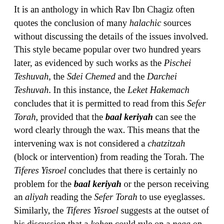It is an anthology in which Rav Ibn Chagiz often quotes the conclusion of many halachic sources without discussing the details of the issues involved. This style became popular over two hundred years later, as evidenced by such works as the Pischei Teshuvah, the Sdei Chemed and the Darchei Teshuvah. In this instance, the Leket Hakemach concludes that it is permitted to read from this Sefer Torah, provided that the baal keriyah can see the word clearly through the wax. This means that the intervening wax is not considered a chatzitzah (block or intervention) from reading the Torah. The Tiferes Yisroel concludes that there is certainly no problem for the baal keriyah or the person receiving an aliyah reading the Sefer Torah to use eyeglasses. Similarly, the Tiferes Yisroel suggests at the outset of his discussion that a kohen could rule on a nega on the basis of what he sees with his eyeglasses.